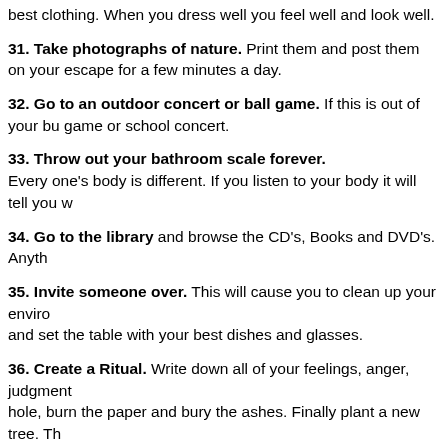best clothing. When you dress well you feel well and look well.
31. Take photographs of nature. Print them and post them on your escape for a few minutes a day.
32. Go to an outdoor concert or ball game. If this is out of your bud game or school concert.
33. Throw out your bathroom scale forever. Every one's body is different. If you listen to your body it will tell you w
34. Go to the library and browse the CD's, Books and DVD's. Anyth
35. Invite someone over. This will cause you to clean up your enviro and set the table with your best dishes and glasses.
36. Create a Ritual. Write down all of your feelings, anger, judgment hole, burn the paper and bury the ashes. Finally plant a new tree. Th beginnings. It will grow as you grow. It will always be a reminder of he
37. Eat Healthy. Include one new fruit or vegetable every day. Prepa food will keep your mind off your troubles.